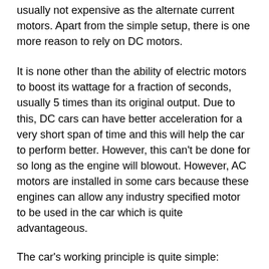usually not expensive as the alternate current motors. Apart from the simple setup, there is one more reason to rely on DC motors.
It is none other than the ability of electric motors to boost its wattage for a fraction of seconds, usually 5 times than its original output. Due to this, DC cars can have better acceleration for a very short span of time and this will help the car to perform better. However, this can't be done for so long as the engine will blowout. However, AC motors are installed in some cars because these engines can allow any industry specified motor to be used in the car which is quite advantageous.
The car's working principle is quite simple:
Drivetrain - In battery-powered cars, the working principle is very easy to understand. The car is driven by a motor